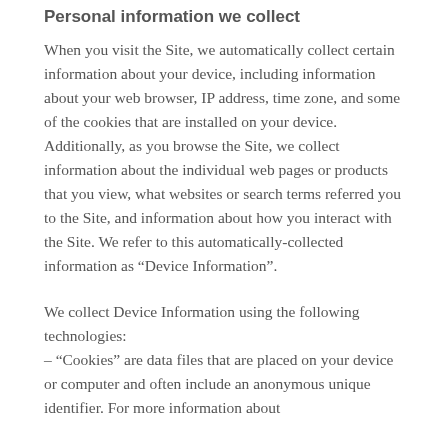Personal information we collect
When you visit the Site, we automatically collect certain information about your device, including information about your web browser, IP address, time zone, and some of the cookies that are installed on your device. Additionally, as you browse the Site, we collect information about the individual web pages or products that you view, what websites or search terms referred you to the Site, and information about how you interact with the Site. We refer to this automatically-collected information as “Device Information”.
We collect Device Information using the following technologies:
- “Cookies” are data files that are placed on your device or computer and often include an anonymous unique identifier. For more information about